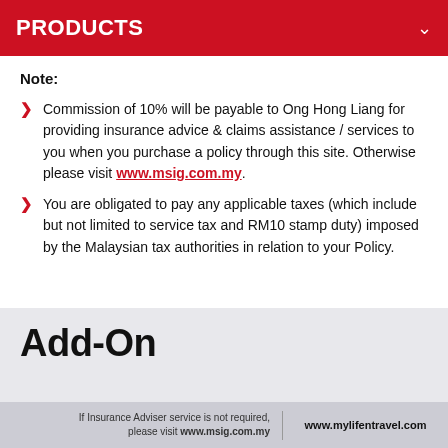PRODUCTS
Note:
Commission of 10% will be payable to Ong Hong Liang for providing insurance advice & claims assistance / services to you when you purchase a policy through this site. Otherwise please visit www.msig.com.my.
You are obligated to pay any applicable taxes (which include but not limited to service tax and RM10 stamp duty) imposed by the Malaysian tax authorities in relation to your Policy.
Add-On
If Insurance Adviser service is not required, please visit www.msig.com.my | www.mylifentravel.com